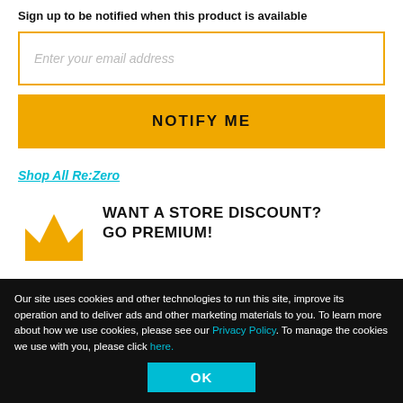Sign up to be notified when this product is available
Enter your email address
NOTIFY ME
Shop All Re:Zero
WANT A STORE DISCOUNT?
GO PREMIUM!
Our site uses cookies and other technologies to run this site, improve its operation and to deliver ads and other marketing materials to you. To learn more about how we use cookies, please see our Privacy Policy. To manage the cookies we use with you, please click here.
OK